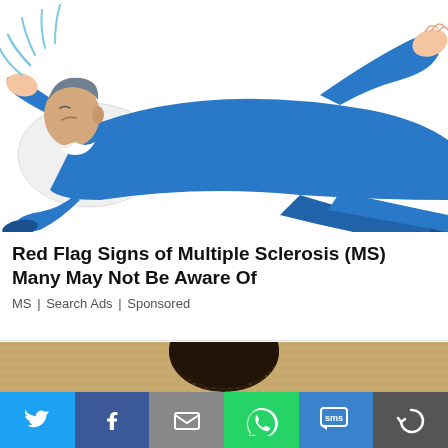[Figure (illustration): Cartoon illustration of a person in a blue suit lying on their back on a white pillow, with curved blue lines suggesting dizziness or neurological symptoms radiating from their head. Their arms are extended outward.]
Red Flag Signs of Multiple Sclerosis (MS) Many May Not Be Aware Of
MS | Search Ads | Sponsored
[Figure (photo): Partial photograph showing what appears to be a person's dark hair against a sandy/beige textured background.]
[Figure (infographic): Social sharing bar with six colored buttons: Twitter (blue with bird icon), Facebook (dark blue with f icon), Email (gray with envelope icon), WhatsApp (green with phone icon), SMS (blue with SMS bubble icon), More (dark gray with circular arrow icon).]